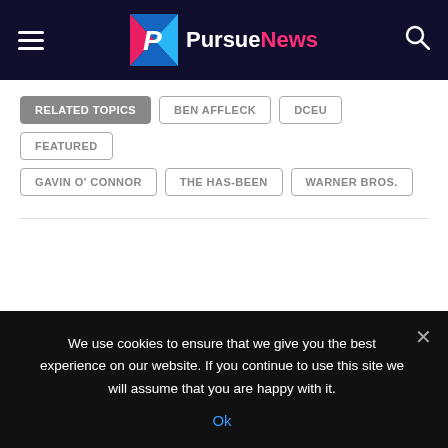PursueNews
RELATED TOPICS  BEN AFFLECK  DCEU  FEATURED  GAVIN O' CONNOR  THE HAS-BEEN  WARNER BROS.
We use cookies to ensure that we give you the best experience on our website. If you continue to use this site we will assume that you are happy with it. Ok